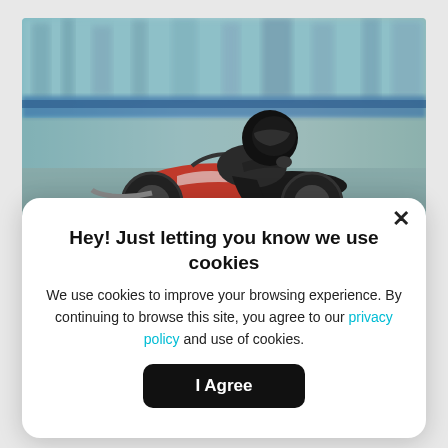[Figure (photo): A motorcycle rider in black leather jacket and helmet riding a red motorcycle at speed, with motion-blurred background of buildings and road.]
Hey! Just letting you know we use cookies
We use cookies to improve your browsing experience. By continuing to browse this site, you agree to our privacy policy and use of cookies.
I Agree